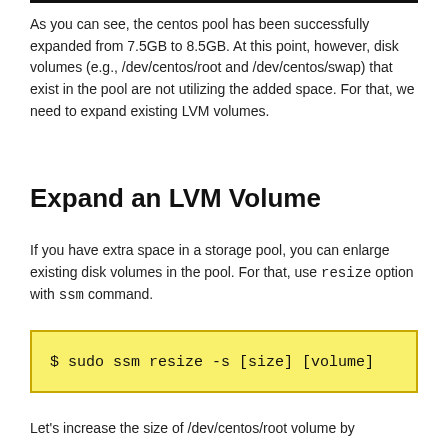As you can see, the centos pool has been successfully expanded from 7.5GB to 8.5GB. At this point, however, disk volumes (e.g., /dev/centos/root and /dev/centos/swap) that exist in the pool are not utilizing the added space. For that, we need to expand existing LVM volumes.
Expand an LVM Volume
If you have extra space in a storage pool, you can enlarge existing disk volumes in the pool. For that, use resize option with ssm command.
$ sudo ssm resize -s [size] [volume]
Let's increase the size of /dev/centos/root volume by